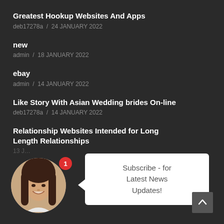Greatest Hookup Websites And Apps
deb17278a  /  24 JANUARY 2022
new
admin  /  18 JANUARY 2022
ebay
admin  /  14 JANUARY 2022
Like Story With Asian Wedding brides On-line
deb17278a  /  14 JANUARY 2022
Relationship Websites Intended for Long Length Relationships
13 J…
[Figure (photo): Round avatar photo of a young woman with long dark hair, smiling, wearing a white top. A red notification badge with '1' overlays the top-right of the avatar.]
Subscribe - for Latest News Updates!